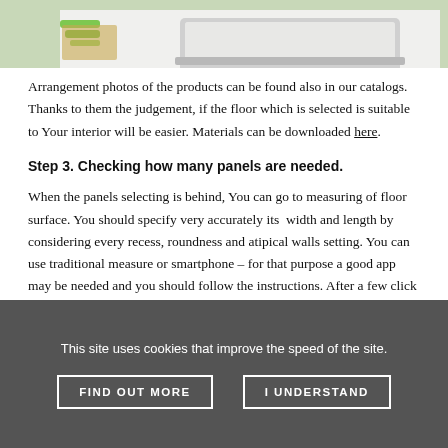[Figure (photo): Top portion of a photo showing green items and a laptop on a white background, partially cropped]
Arrangement photos of the products can be found also in our catalogs. Thanks to them the judgement, if the floor which is selected is suitable to Your interior will be easier. Materials can be downloaded here.
Step 3. Checking how many panels are needed.
When the panels selecting is behind, You can go to measuring of floor surface. You should specify very accurately its width and length by considering every recess, roundness and atipical walls setting. You can use traditional measure or smartphone – for that purpose a good app may be needed and you should follow the instructions. After a few click
This site uses cookies that improve the speed of the site.
FIND OUT MORE
I UNDERSTAND